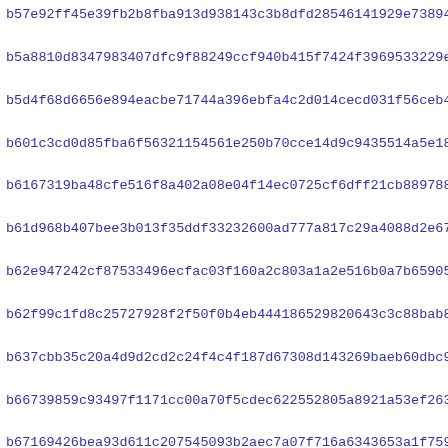b57e92ff45e39fb2b8fba913d938143c3b8dfd28546141929e7389436f8c8
b5a8810d8347983407dfc9f88249ccf940b415f7424f3969533229ef688d3
b5d4f68d6656e894eacbe71744a396ebfa4c2d014cecd031f56ceb4704ee6
b601c3cd0d85fba6f56321154561e250b70cce14d9c9435514a5e187a4b72
b6167319ba48cfe516f8a402a08e04f14ec0725cf6dff21cb8897883bee39
b61d968b407bee3b013f35ddf33232600ad777a817c29a4088d2e679ffc9e
b62e947242cf87533496ecfac03f160a2c803a1a2e516b0a7b65905f4d760
b62f99c1fd8c25727928f2f50f0b4eb444186529820643c3c88bab83baf41
b637cbb35c20a4d9d2cd2c24f4c4f187d67308d143269baeb60dbc9f8b88a
b66739859c93497f1171cc00a70f5cdec622552805a8921a53ef263697f0d
b67169426bea93d611c207545093b2aec7a07f716a6343653a1f75997cc09